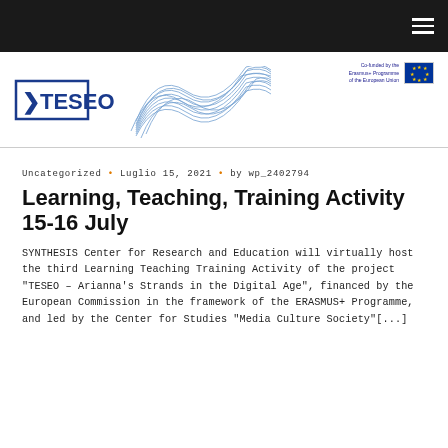Navigation bar with hamburger menu
[Figure (logo): TESEO project logo with wave graphic and EU co-funded badge]
Uncategorized • Luglio 15, 2021 • by wp_2402794
Learning, Teaching, Training Activity 15-16 July
SYNTHESIS Center for Research and Education will virtually host the third Learning Teaching Training Activity of the project "TESEO – Arianna's Strands in the Digital Age", financed by the European Commission in the framework of the ERASMUS+ Programme, and led by the Center for Studies "Media Culture Society"[...]